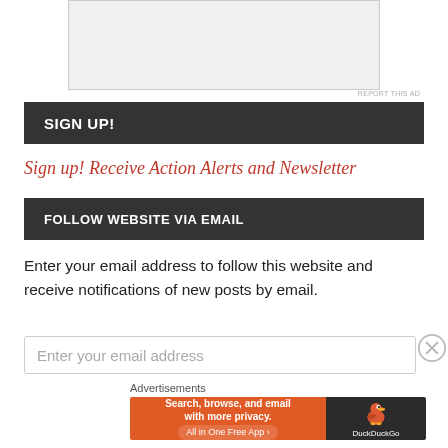[Figure (other): Top portion of an advertisement image, partially visible at top of page]
SIGN UP!
Sign up! Receive Action Alerts and Newsletter
FOLLOW WEBSITE VIA EMAIL
Enter your email address to follow this website and receive notifications of new posts by email.
Enter your email address
Advertisements
[Figure (other): DuckDuckGo advertisement banner: Search, browse, and email with more privacy. All in One Free App. DuckDuckGo logo.]